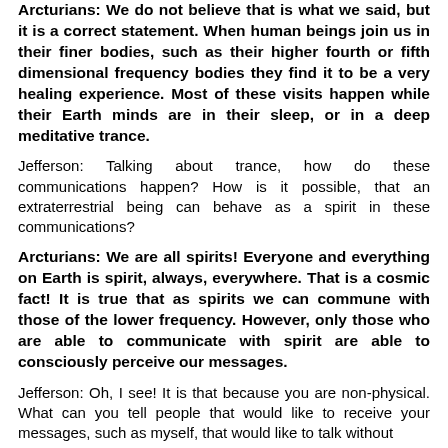Arcturians: We do not believe that is what we said, but it is a correct statement. When human beings join us in their finer bodies, such as their higher fourth or fifth dimensional frequency bodies they find it to be a very healing experience. Most of these visits happen while their Earth minds are in their sleep, or in a deep meditative trance.
Jefferson: Talking about trance, how do these communications happen? How is it possible, that an extraterrestrial being can behave as a spirit in these communications?
Arcturians: We are all spirits! Everyone and everything on Earth is spirit, always, everywhere. That is a cosmic fact! It is true that as spirits we can commune with those of the lower frequency. However, only those who are able to communicate with spirit are able to consciously perceive our messages.
Jefferson: Oh, I see! It is that because you are non-physical. What can you tell people that would like to receive your messages, such as myself, that would like to talk without